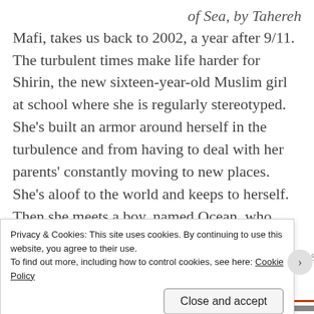of Sea, by Tahereh Mafi, takes us back to 2002, a year after 9/11. The turbulent times make life harder for Shirin, the new sixteen-year-old Muslim girl at school where she is regularly stereotyped. She's built an armor around herself in the turbulence and from having to deal with her parents' constantly moving to new places. She's aloof to the world and keeps to herself. Then she meets a boy, named Ocean, who wants to get to know her. The latest Tahereh Mafi novel is a sweet romance that involves bringing Shirin out of her shell.
Privacy & Cookies: This site uses cookies. By continuing to use this website, you agree to their use.
To find out more, including how to control cookies, see here: Cookie Policy
Close and accept